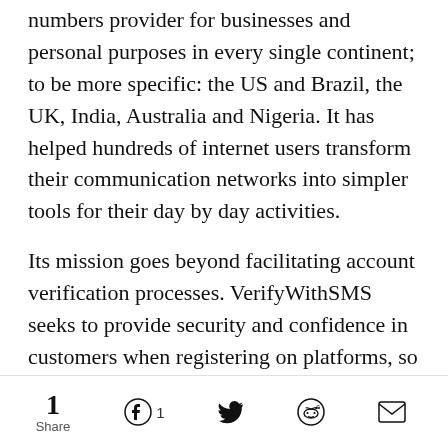numbers provider for businesses and personal purposes in every single continent; to be more specific: the US and Brazil, the UK, India, Australia and Nigeria. It has helped hundreds of internet users transform their communication networks into simpler tools for their day by day activities.
Its mission goes beyond facilitating account verification processes. VerifyWithSMS seeks to provide security and confidence in customers when registering on platforms, so that they do not expose any kind of important confidential information like a phone number.
Without a doubt, this service is simple, fast and reliable. Just provide a valid email address to
1 Share  [Facebook 1] [Twitter] [Reddit] [Email]